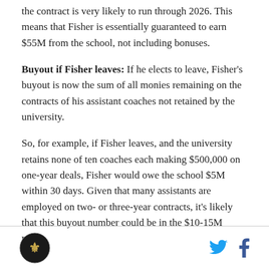the contract is very likely to run through 2026. This means that Fisher is essentially guaranteed to earn $55M from the school, not including bonuses.
Buyout if Fisher leaves: If he elects to leave, Fisher's buyout is now the sum of all monies remaining on the contracts of his assistant coaches not retained by the university.
So, for example, if Fisher leaves, and the university retains none of ten coaches each making $500,000 on one-year deals, Fisher would owe the school $5M within 30 days. Given that many assistants are employed on two- or three-year contracts, it's likely that this buyout number could be in the $10-15M range.